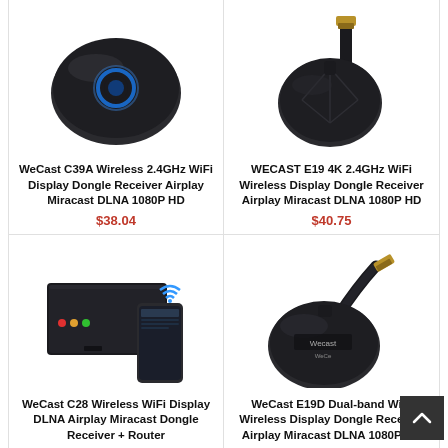[Figure (photo): WeCast C39A round black wireless display dongle with blue LED ring]
WeCast C39A Wireless 2.4GHz WiFi Display Dongle Receiver Airplay Miracast DLNA 1080P HD
$38.04
[Figure (photo): WECAST E19 round black wireless HDMI dongle with flat HDMI cable]
WECAST E19 4K 2.4GHz WiFi Wireless Display Dongle Receiver Airplay Miracast DLNA 1080P HD
$40.75
[Figure (photo): WeCast C28 black box router with smartphone showing WiFi interface]
WeCast C28 Wireless WiFi Display DLNA Airplay Miracast Dongle Receiver + Router
[Figure (photo): WeCast E19D dual-band round black dongle with flat HDMI cable]
WeCast E19D Dual-band WiFi Wireless Display Dongle Receiver Airplay Miracast DLNA 1080P HD